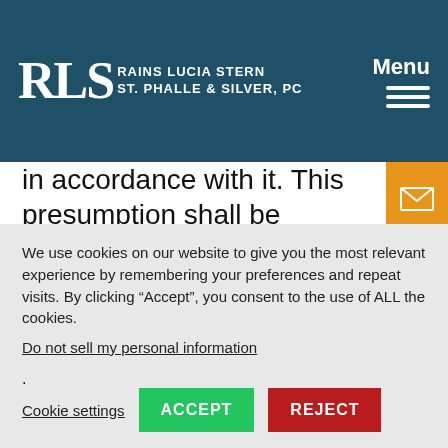RLS Rains Lucia Stern St. Phalle & Silver, PC | Menu
in accordance with it. This presumption shall be extended to a member following termination of service for a period of three calendar months for each
We use cookies on our website to give you the most relevant experience by remembering your preferences and repeat visits. By clicking “Accept”, you consent to the use of ALL the cookies.
Do not sell my personal information.
Cookie settings  ACCEPT  REJECT